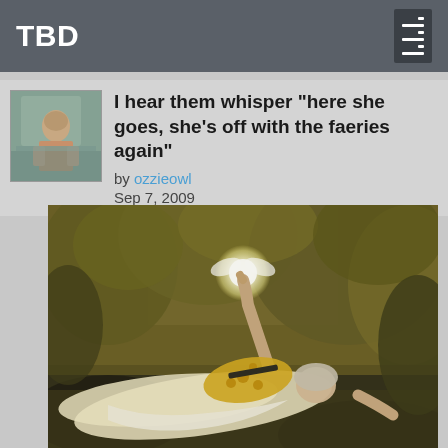TBD
I hear them whisper "here she goes, she's off with the faeries again"
by ozzieowl
Sep 7, 2009
[Figure (photo): A painting-style illustration of a woman in a yellow dress lying on the ground in a forest, reaching upward with one arm toward a glowing fairy or light. The background shows golden-hued foliage and trees.]